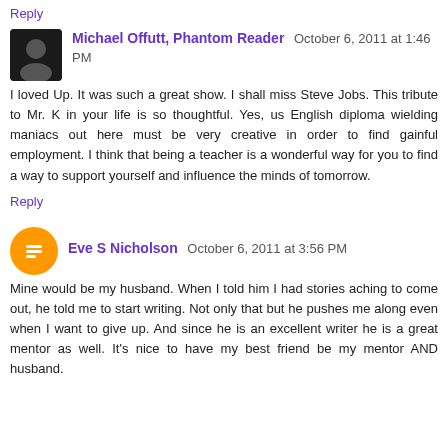Reply
Michael Offutt, Phantom Reader October 6, 2011 at 1:46 PM
I loved Up. It was such a great show. I shall miss Steve Jobs. This tribute to Mr. K in your life is so thoughtful. Yes, us English diploma wielding maniacs out here must be very creative in order to find gainful employment. I think that being a teacher is a wonderful way for you to find a way to support yourself and influence the minds of tomorrow.
Reply
Eve S Nicholson October 6, 2011 at 3:56 PM
Mine would be my husband. When I told him I had stories aching to come out, he told me to start writing. Not only that but he pushes me along even when I want to give up. And since he is an excellent writer he is a great mentor as well. It's nice to have my best friend be my mentor AND husband.